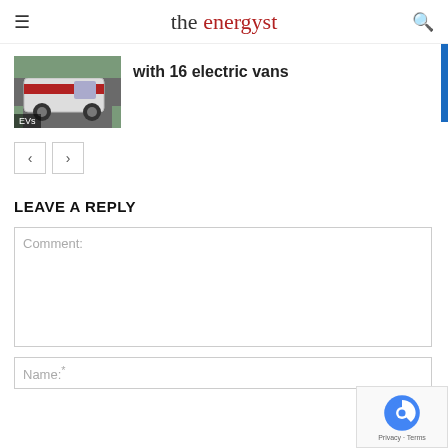the energyst
with 16 electric vans
[Figure (photo): Red and white electric van with EVs label]
< >
LEAVE A REPLY
Comment:
Name:*